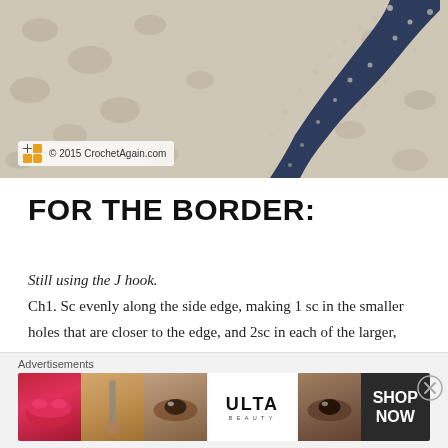[Figure (photo): Photo of a dark navy blue crocheted triangular shawl/doily on a leopard print fabric background. Copyright watermark reads '© 2015 CrochetAgain.com' in bottom left.]
FOR THE BORDER:
Still using the J hook.
Ch1.  Sc evenly along the side edge, making 1 sc in the smaller holes that are closer to the edge, and 2sc in each of the larger, deeper in holes.  3 sc in the point, then continue along the other side.  3sc in the top corner.  Sc in each hdc along the top edge, and 3sc in
[Figure (screenshot): Advertisement banner at bottom of page showing Ulta Beauty ad with makeup images (red lips, brush, eyes) and 'SHOP NOW' text on dark background.]